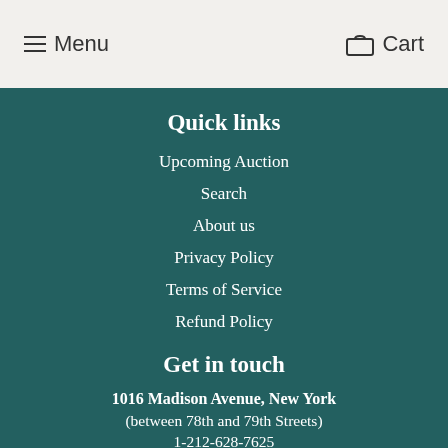Menu   Cart
Quick links
Upcoming Auction
Search
About us
Privacy Policy
Terms of Service
Refund Policy
Get in touch
1016 Madison Avenue, New York
(between 78th and 79th Streets)
1-212-628-7625
Open Monday-Saturday, 10am-6pm
All the time – please contact info. Or and...